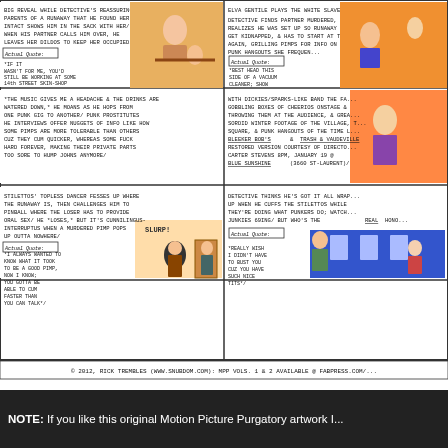[Figure (illustration): Comic strip page from Motion Picture Purgatory by Rick Trembles (2012). Six comic panels arranged in a 2-column grid depicting scenes from a detective/crime movie with text descriptions and 'Actual Quote' speech bubbles. Bottom copyright bar reads: © 2012, Rick Trembles (www.snubdom.com): MPP VOLS. 1 & 2 AVAILABLE @ FABPRESS.COM/]
NOTE: If you like this original Motion Picture Purgatory artwork I...